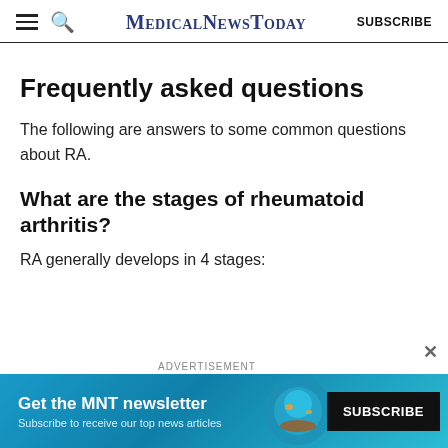MedicalNewsToday SUBSCRIBE
Frequently asked questions
The following are answers to some common questions about RA.
What are the stages of rheumatoid arthritis?
RA generally develops in 4 stages:
[Figure (screenshot): Advertisement banner: Get the MNT newsletter. Subscribe to receive our top news articles. SUBSCRIBE button.]